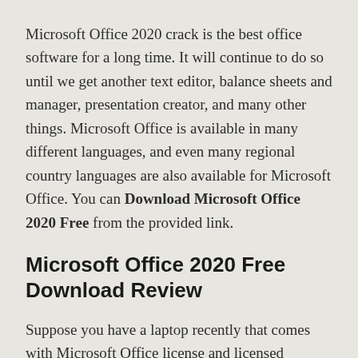Microsoft Office 2020 crack is the best office software for a long time. It will continue to do so until we get another text editor, balance sheets and manager, presentation creator, and many other things. Microsoft Office is available in many different languages, and even many regional country languages are also available for Microsoft Office. You can Download Microsoft Office 2020 Free from the provided link.
Microsoft Office 2020 Free Download Review
Suppose you have a laptop recently that comes with Microsoft Office license and licensed Windows. In that case, you will not be able to format the system entirely only by restarting the system, and